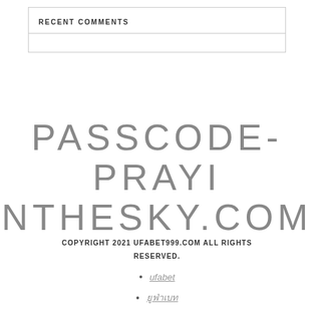RECENT COMMENTS
PASSCODE-PRAYINTHESKY.COM
COPYRIGHT 2021 UFABET999.COM ALL RIGHTS RESERVED.
ufabet
ยูฟ่าเบท
แทงบอล
[Figure (illustration): Red circle arc visible at bottom center of page]